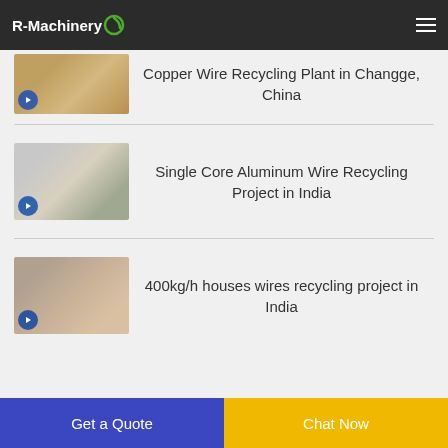R-Machinery
[Figure (screenshot): Thumbnail image of copper wire granules in hand - partially visible at top]
Copper Wire Recycling Plant in Changge, China
[Figure (screenshot): Thumbnail image of aluminum wire recycling project - hands holding wire and circular tokens]
Single Core Aluminum Wire Recycling Project in India
[Figure (screenshot): Thumbnail image of 400kg/h houses wires recycling project - hands and machine]
400kg/h houses wires recycling project in India
Get a Quote | Chat Now